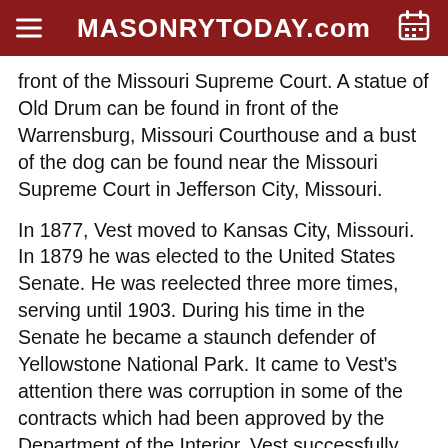MASONRYTODAY.com
front of the Missouri Supreme Court. A statue of Old Drum can be found in front of the Warrensburg, Missouri Courthouse and a bust of the dog can be found near the Missouri Supreme Court in Jefferson City, Missouri.
In 1877, Vest moved to Kansas City, Missouri. In 1879 he was elected to the United States Senate. He was reelected three more times, serving until 1903. During his time in the Senate he became a staunch defender of Yellowstone National Park. It came to Vest's attention there was corruption in some of the contracts which had been approved by the Department of the Interior. Vest successfully championed a bill requiring all contracts under the Department of the Interior to be approved by the Senate.
While Vest was in the Senate in 1891 he attended and gave a speech at the Missouri ex-confederate convention. This speech has led some to give Vest the credit for the phrase "it seems that the phrase is attributed to him as well"